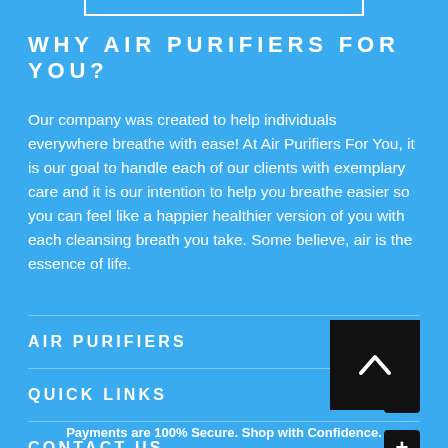[Figure (other): Top decorative bar / search box outline]
WHY AIR PURIFIERS FOR YOU?
Our company was created to help individuals everywhere breathe with ease! At Air Purifiers For You, it is our goal to handle each of our clients with exemplary care and it is our intention to help you breathe easier so you can feel like a happier healthier version of you with each cleansing breath you take. Some believe, air is the essence of life.
AIR PURIFIERS
QUICK LINKS
CONTACT US
[Figure (other): Scroll-to-top button with upward chevron arrow on black background]
Payments are 100% Secure. Shop with Confidence.